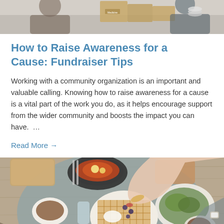[Figure (photo): Top portion of a photo showing people working with cardboard boxes and medical supplies]
How to Raise Awareness for a Cause: Fundraiser Tips
Working with a community organization is an important and valuable calling. Knowing how to raise awareness for a cause is a vital part of the work you do, as it helps encourage support from the wider community and boosts the impact you can have.  …
Read More →
[Figure (photo): Overhead view of a dining table with food including waffles, coffee, eggs, and salad, with hands reaching for dishes]